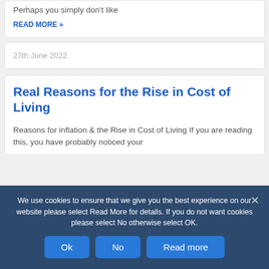Perhaps you simply don't like
READ MORE »
27th June 2022
Real Reasons for the Rise in Cost of Living
Reasons for inflation & the Rise in Cost of Living If you are reading this, you have probably noticed your
We use cookies to ensure that we give you the best experience on our website please select Read More for details. If you do not want cookies please select No otherwise select OK.
Ok
No
Read more